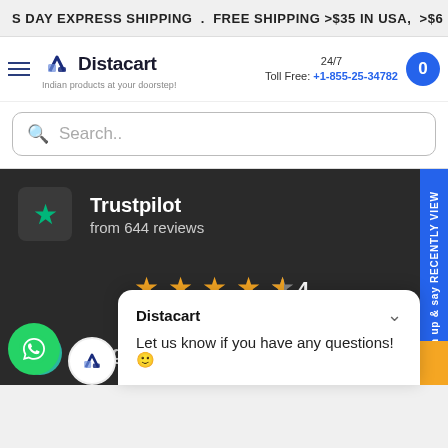S DAY EXPRESS SHIPPING . FREE SHIPPING >$35 IN USA, >$6
[Figure (logo): Distacart logo with hamburger menu icon, 24/7 Toll Free phone number +1-855-25-34782, and cart button]
Search..
Trustpilot
from 644 reviews
[Figure (infographic): Star rating display showing 4.7 out of 5 stars with 4 full stars and 1 half star in gold color]
Judge.me
[Figure (infographic): Chat popup from Distacart saying 'Let us know if you have any questions! :)']
[Figure (logo): WhatsApp green circle button and Distacart small icon]